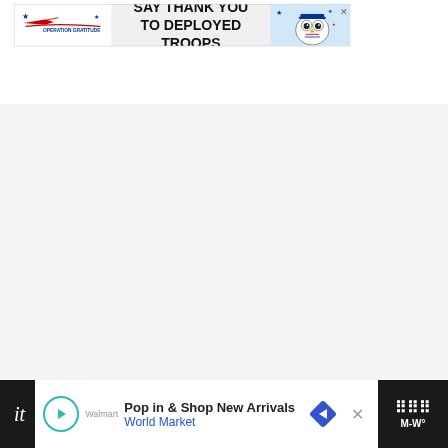[Figure (other): Operation Gratitude advertisement banner: 'SAY THANK YOU TO DEPLOYED TROOPS' with logo on left and owl mascot on right]
[Figure (other): Large blank/white content area (image loading area) with heart/save button (teal circle with heart icon), count '2', and share button below on the right side]
Cut the boneless pork into bite sized pieces. Season
[Figure (other): Bottom advertisement bar: 'Pop in & Shop New Arrivals / World Market' with navigation arrow icon, alongside dark bar with italic text 'it' and Merriam-Webster logo area]